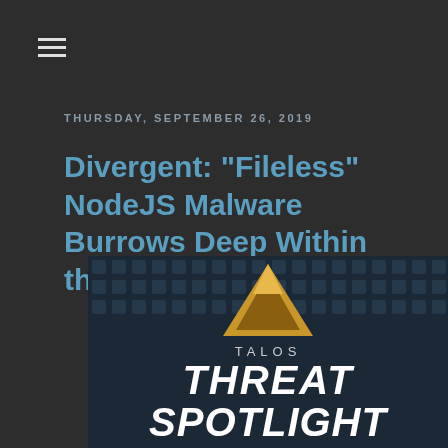[Figure (other): Hamburger menu icon (three horizontal lines) in the top-left corner]
THURSDAY, SEPTEMBER 26, 2019
Divergent: "Fileless" NodeJS Malware Burrows Deep Within the Host
[Figure (logo): Talos Threat Spotlight logo with a golden triangle/arrow shape pointing up and bold italic white text reading TALOS THREAT SPOTLIGHT on a dark blue background with faint security icon grid overlay]